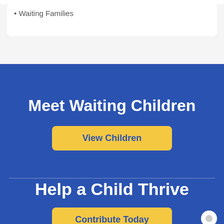Waiting Families
Meet Waiting Children
View Children
Help a Child Thrive
Contribute Today